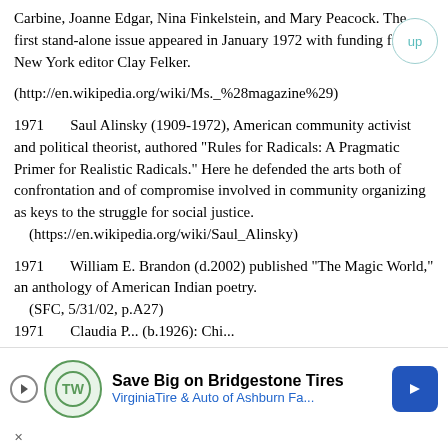Carbine, Joanne Edgar, Nina Finkelstein, and Mary Peacock. The first stand-alone issue appeared in January 1972 with funding from New York editor Clay Felker.
(http://en.wikipedia.org/wiki/Ms._%28magazine%29)
1971       Saul Alinsky (1909-1972), American community activist and political theorist, authored "Rules for Radicals: A Pragmatic Primer for Realistic Radicals." Here he defended the arts both of confrontation and of compromise involved in community organizing as keys to the struggle for social justice.
    (https://en.wikipedia.org/wiki/Saul_Alinsky)
1971       William E. Brandon (d.2002) published "The Magic World," an anthology of American Indian poetry.
    (SFC, 5/31/02, p.A27)
1971       Claudia P... (b.1926): Chi...
[Figure (other): Advertisement banner: Save Big on Bridgestone Tires - VirginiaTire & Auto of Ashburn Fa.]